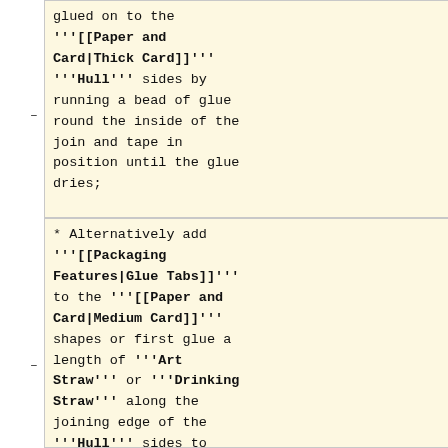glued on to the '''[[Paper and Card|Thick Card]]''' '''Hull''' sides by running a bead of glue round the inside of the join and tape in position until the glue dries;
* Alternatively add '''[[Packaging Features|Glue Tabs]]''' to the '''[[Paper and Card|Medium Card]]''' shapes or first glue a length of '''Art Straw''' or '''Drinking Straw''' along the joining edge of the '''Hull''' sides to provide a joint surface